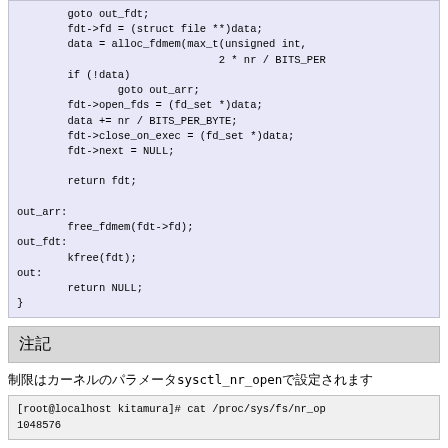[Figure (screenshot): Code block showing C code for file descriptor table allocation with goto labels out_arr, out_fdt, out, and closing brace]
注記
制限はカーネルのパラメータsysctl_nr_openで設定されます
[Figure (screenshot): Terminal command: [root@localhost kitamura]# cat /proc/sys/fs/nr_op followed by output 1048576]
ユーザーランドからはsetrlimit/getrlimitシステムコールを使って変更します
[Figure (screenshot): Code showing #define INR_OPEN_CUR 1024 /* Initial settin and #define INR_OPEN_MAX 1048 /* the limit for]